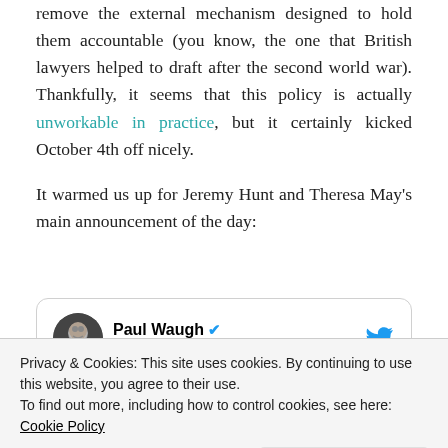remove the external mechanism designed to hold them accountable (you know, the one that British lawyers helped to draft after the second world war). Thankfully, it seems that this policy is actually unworkable in practice, but it certainly kicked October 4th off nicely.

It warmed us up for Jeremy Hunt and Theresa May's main announcement of the day:
[Figure (screenshot): Embedded tweet from @paulwaugh (Paul Waugh) with Twitter bird logo, verified badge, Follow link, and partial tweet text: 'Theresa May tells BBC foreign doctors...']
Privacy & Cookies: This site uses cookies. By continuing to use this website, you agree to their use. To find out more, including how to control cookies, see here: Cookie Policy